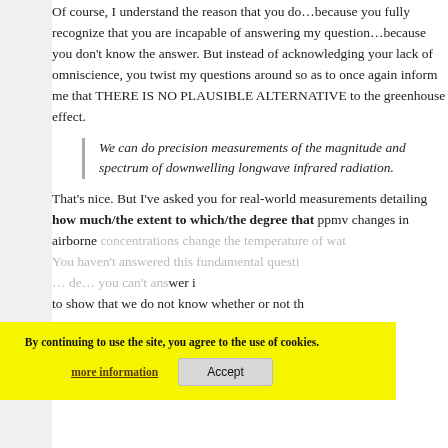Of course, I understand the reason that you do…because you fully recognize that you are incapable of answering my question…because you don't know the answer. But instead of acknowledging your lack of omniscience, you twist my questions around so as to once again inform me that THERE IS NO PLAUSIBLE ALTERNATIVE to the greenhouse effect.
We can do precision measurements of the magnitude and spectrum of downwelling longwave infrared radiation.
That's nice. But I've asked you for real-world measurements detailing how much/the extent to which/the degree that ppmv changes in airborne CO2 concentrations change the temperature of water vapor… You haven't answered this fundamental question… I made… you can't answer it… to show that we do not know whether or not the…
By continuing to use the site, you agree to the use of cookies.
more information
Accept